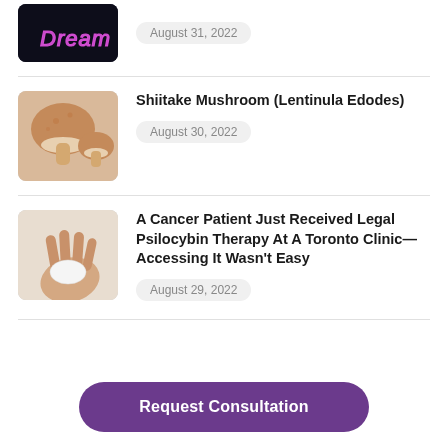[Figure (photo): Cropped top portion of a neon dream sign image]
August 31, 2022
[Figure (photo): Two shiitake mushrooms on a beige background]
Shiitake Mushroom (Lentinula Edodes)
August 30, 2022
[Figure (photo): Hands holding a white round pill or tablet]
A Cancer Patient Just Received Legal Psilocybin Therapy At A Toronto Clinic—Accessing It Wasn't Easy
August 29, 2022
Request Consultation